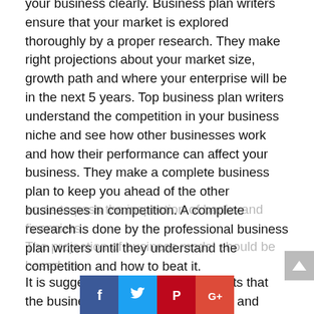your business clearly. Business plan writers ensure that your market is explored thoroughly by a proper research. They make right projections about your market size, growth path and where your enterprise will be in the next 5 years. Top business plan writers understand the competition in your business niche and see how other businesses work and how their performance can affect your business. They make a complete business plan to keep you ahead of the other businesses in competition. A complete research is done by the professional business plan writers until they understand the competition and how to beat it.
It is suggested by the industry experts that the business plan should be concise and should follow the standard norms in your business sector. It is essential that your business plan is written giving complete attention to detail so as to pass the inspection of banks and financiers. The projection of business model should be based on
[Figure (infographic): Social media share buttons: Facebook (blue), Twitter (light blue), Pinterest (red), Google+ (orange-red)]